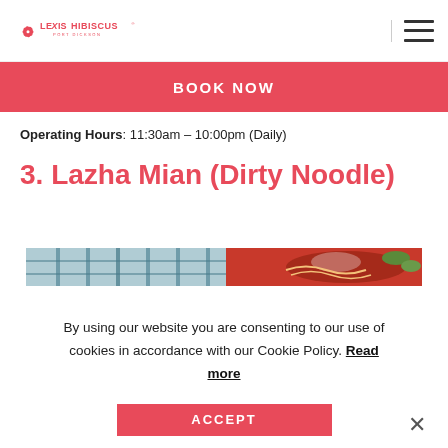Lexis Hibiscus Port Dickson
BOOK NOW
Operating Hours:  11:30am – 10:00pm (Daily)
3. Lazha Mian (Dirty Noodle)
[Figure (photo): Partial food image showing noodle dish]
By using our website you are consenting to our use of cookies in accordance with our Cookie Policy. Read more
ACCEPT